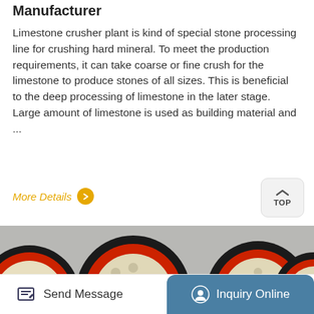Manufacturer
Limestone crusher plant is kind of special stone processing line for crushing hard mineral. To meet the production requirements, it can take coarse or fine crush for the limestone to produce stones of all sizes. This is beneficial to the deep processing of limestone in the later stage. Large amount of limestone is used as building material and ...
More Details
[Figure (photo): Industrial limestone crusher machinery with large red and black flywheel wheels mounted on cream/beige colored frames, shown in a factory setting]
Send Message
Inquiry Online